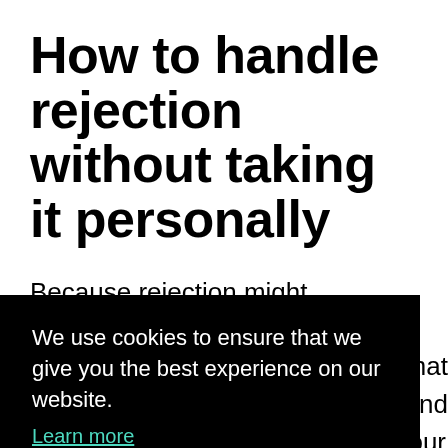How to handle rejection without taking it personally
Because rejection might challenge your self-esteem or attachment issues, you
We use cookies to ensure that we give you the best experience on our website. Learn more OK
that
hind
our
ble
can reject potential partners for a variety